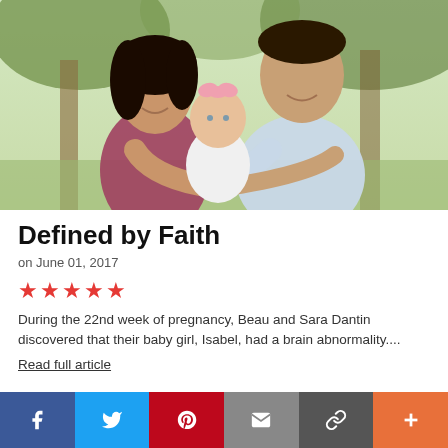[Figure (photo): Family photo of a woman with dark curly hair in a maroon top, a man in a light blue shirt, and a baby girl wearing a pink bow, photographed outdoors with trees in the background]
Defined by Faith
on June 01, 2017
★★★★★
During the 22nd week of pregnancy, Beau and Sara Dantin discovered that their baby girl, Isabel, had a brain abnormality....
Read full article
f  t  p  [mail]  [link]  +